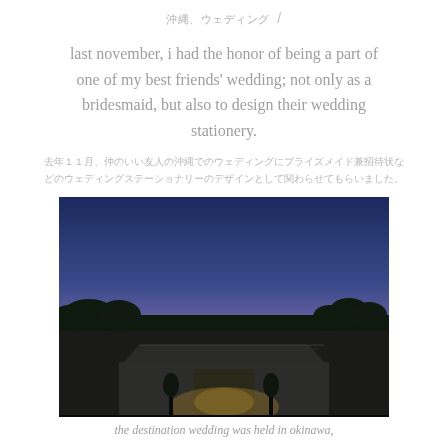沖縄、ウェディング /
last november, i had the honor of being a part of one of my best friends' wedding; not only as a bridesmaid, but also to design their wedding stationery.
去年１１月、仲のいい友人の沖縄でのウェディングにブライズメイド兼招待状などのウェディングステーショナリーのデザインとして関わらせてもらいました。
[Figure (photo): Twilight/dusk photo of a building with a tiled roof and illuminated entrance, surrounded by trees, with a gradient sky from deep blue to warm pink/purple at the horizon, ocean visible in the distance.]
the destination wedding was held in okinawa,